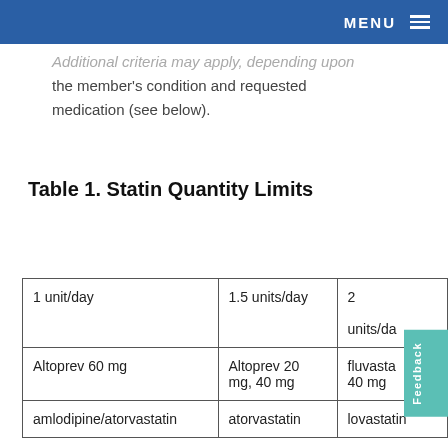MENU
Additional criteria may apply, depending upon the member's condition and requested medication (see below).
Table 1. Statin Quantity Limits
| 1 unit/day | 1.5 units/day | 2 units/day |
| --- | --- | --- |
| Altoprev 60 mg | Altoprev 20 mg, 40 mg | fluvasta... 40 mg |
| amlodipine/atorvastatin | atorvastatin | lovastatin |